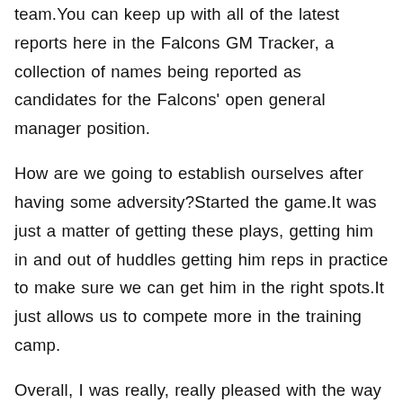team.You can keep up with all of the latest reports here in the Falcons GM Tracker, a collection of names being reported as candidates for the Falcons' open general manager position.
How are we going to establish ourselves after having some adversity?Started the game.It was just a matter of getting these plays, getting him in and out of huddles getting him reps in practice to make sure we can get him in the right spots.It just allows us to compete more in the training camp.
Overall, I was really, really pleased with the way they showed up today.As professional athletes, we have the chance to be leaders and I look forward to being a big part in bringing about positive change